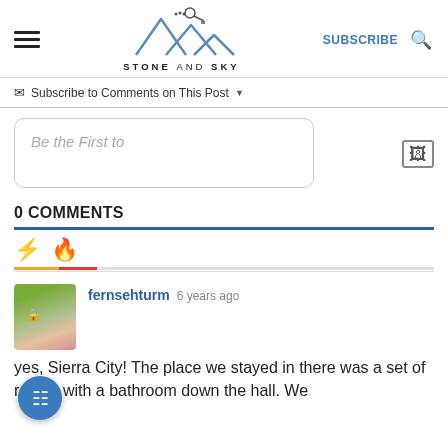STONE AND SKY — SUBSCRIBE
Subscribe to Comments on This Post
Be the First to
0 COMMENTS
fernsehturm  6 years ago
yes, Sierra City! The place we stayed in there was a set of rooms with a bathroom down the hall. We